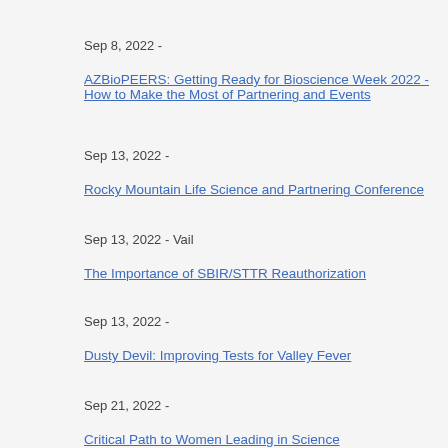Sep 8, 2022 -
AZBioPEERS: Getting Ready for Bioscience Week 2022 - How to Make the Most of Partnering and Events
Sep 13, 2022 -
Rocky Mountain Life Science and Partnering Conference
Sep 13, 2022 - Vail
The Importance of SBIR/STTR Reauthorization
Sep 13, 2022 -
Dusty Devil: Improving Tests for Valley Fever
Sep 21, 2022 -
Critical Path to Women Leading in Science